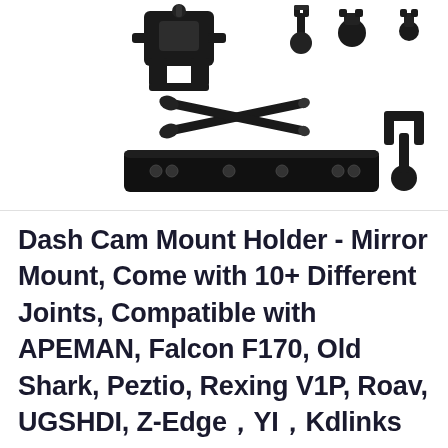[Figure (photo): Product photo showing a dash cam mirror mount kit with multiple components: a main clamp/holder, various ball joint adapters, crossed screws/bolts, a long black rail bar with holes, and a U-shaped phone/device mount bracket.]
Dash Cam Mount Holder - Mirror Mount, Come with 10+ Different Joints, Compatible with APEMAN, Falcon F170, Old Shark, Peztio, Rexing V1P, Roav, UGSHDI, Z-Edge，YI，Kdlinks X1, and Most Dash